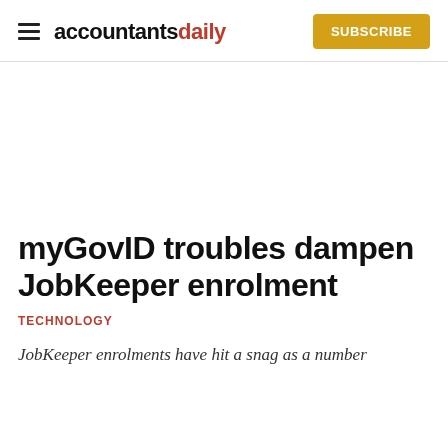accountantsdaily  SUBSCRIBE
myGovID troubles dampen JobKeeper enrolment
TECHNOLOGY
JobKeeper enrolments have hit a snag as a number